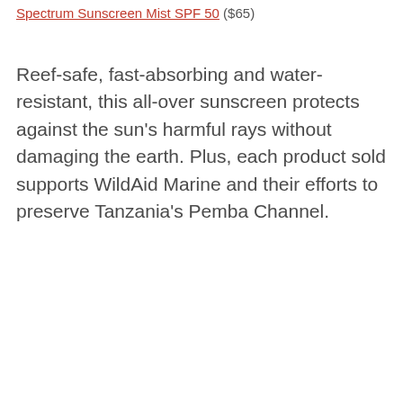Spectrum Sunscreen Mist SPF 50 ($65)
Reef-safe, fast-absorbing and water-resistant, this all-over sunscreen protects against the sun's harmful rays without damaging the earth. Plus, each product sold supports WildAid Marine and their efforts to preserve Tanzania's Pemba Channel.